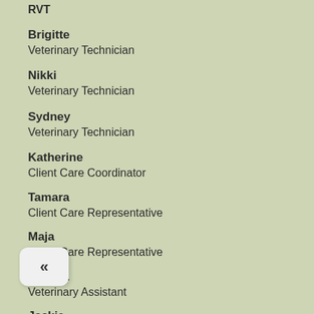RVT
Brigitte
Veterinary Technician
Nikki
Veterinary Technician
Sydney
Veterinary Technician
Katherine
Client Care Coordinator
Tamara
Client Care Representative
Maja
Client Care Representative
Mayara
Veterinary Assistant
Jackie
Veterinary Assistant